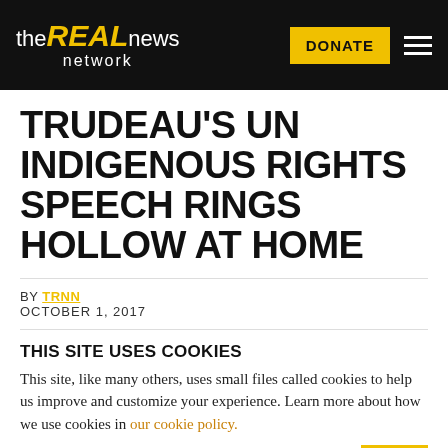the REAL news network | DONATE
TRUDEAU'S UN INDIGENOUS RIGHTS SPEECH RINGS HOLLOW AT HOME
BY TRNN
OCTOBER 1, 2017
THIS SITE USES COOKIES
This site, like many others, uses small files called cookies to help us improve and customize your experience. Learn more about how we use cookies in our cookie policy.
Learn more about cookies  OK